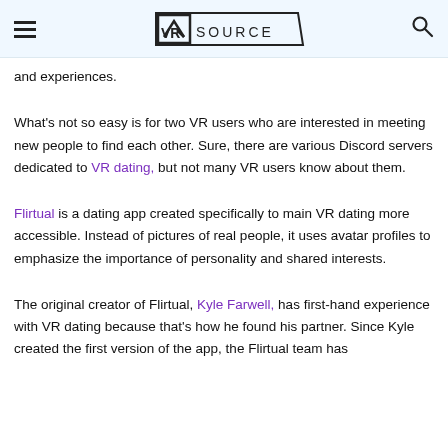VR SOURCE
and experiences.
What's not so easy is for two VR users who are interested in meeting new people to find each other. Sure, there are various Discord servers dedicated to VR dating, but not many VR users know about them.
Flirtual is a dating app created specifically to main VR dating more accessible. Instead of pictures of real people, it uses avatar profiles to emphasize the importance of personality and shared interests.
The original creator of Flirtual, Kyle Farwell, has first-hand experience with VR dating because that's how he found his partner. Since Kyle created the first version of the app, the Flirtual team has